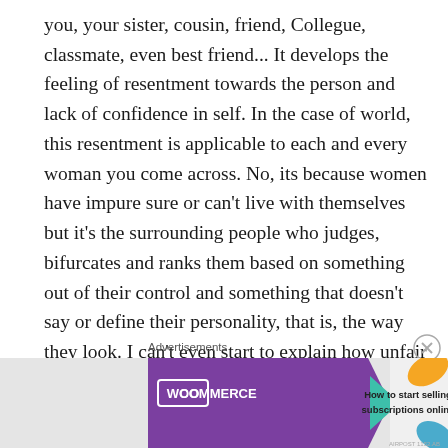you, your sister, cousin, friend, Collegue, classmate, even best friend... It develops the feeling of resentment towards the person and lack of confidence in self. In the case of world, this resentment is applicable to each and every woman you come across. No, its because women have impure sure or can't live with themselves but it's the surrounding people who judges, bifurcates and ranks them based on something out of their control and something that doesn't say or define their personality, that is, the way they look. I can't even start to explain how unfair that is, but on the scale of 0-10,its definitely 100.
Advertisements
[Figure (other): WooCommerce advertisement banner: purple left section with WooCommerce logo and teal arrow, right section with decorative leaves and text 'How to start selling subscriptions online']